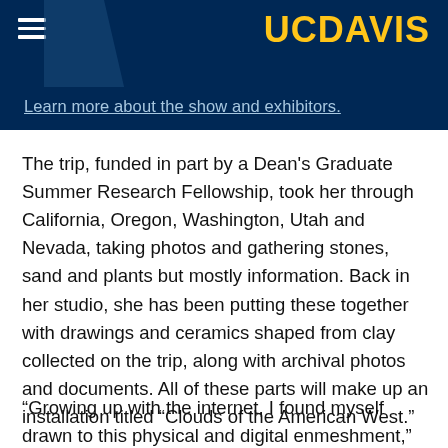UC DAVIS
Learn more about the show and exhibitors.
The trip, funded in part by a Dean's Graduate Summer Research Fellowship, took her through California, Oregon, Washington, Utah and Nevada, taking photos and gathering stones, sand and plants but mostly information. Back in her studio, she has been putting these together with drawings and ceramics shaped from clay collected on the trip, along with archival photos and documents. All of these parts will make up an installation titled “Clouds of the American West.”
“Growing up with the internet, I found myself drawn to this physical and digital enmeshment,” said O’Leary, a